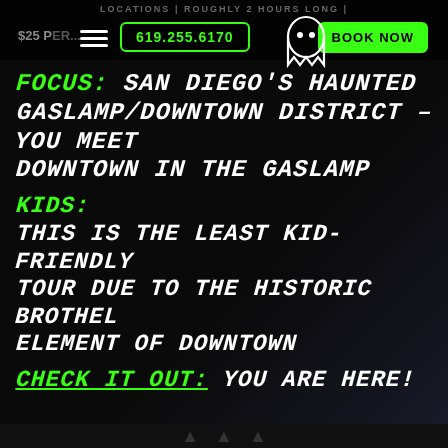LOCATIONS | ROUGHLY 2 HOURS LONG | $25 PER... | 619.255.6170 | BOOK NOW
FOCUS: SAN DIEGO'S HAUNTED GASLAMP/DOWNTOWN DISTRICT - YOU MEET DOWNTOWN IN THE GASLAMP
KIDS: THIS IS THE LEAST KID-FRIENDLY TOUR DUE TO THE HISTORIC BROTHEL ELEMENT OF DOWNTOWN
CHECK IT OUT: YOU ARE HERE!